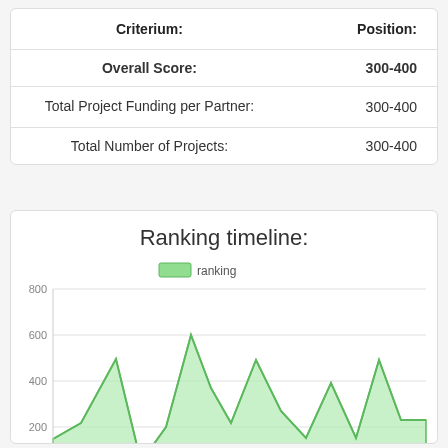| Criterium: | Position: |
| --- | --- |
| Overall Score: | 300-400 |
| Total Project Funding per Partner: | 300-400 |
| Total Number of Projects: | 300-400 |
Ranking timeline:
[Figure (area-chart): Area chart showing ranking timeline values fluctuating between roughly 0 and 660, with peaks and valleys across multiple time periods. Y-axis labeled 0 to 800. Legend shows 'ranking' in green.]